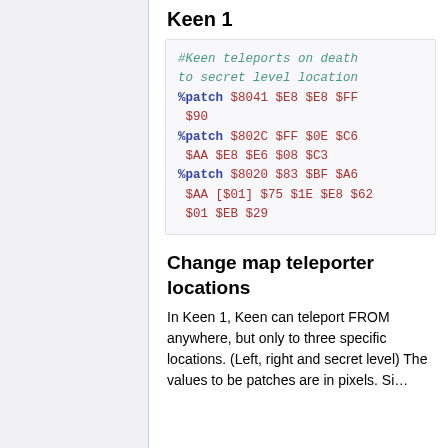Keen 1
[Figure (screenshot): Code box showing patch commands: comment '#Keen teleports on death to secret level location', then three %patch lines with hex values in blue and red monospace text]
Change map teleporter locations
In Keen 1, Keen can teleport FROM anywhere, but only to three specific locations. (Left, right and secret level) The values to be patches are in pixels. Si...